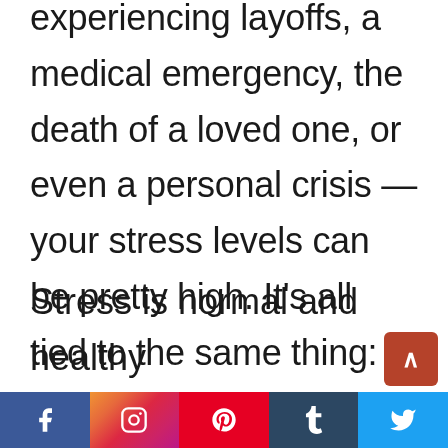experiencing layoffs, a medical emergency, the death of a loved one, or even a personal crisis — your stress levels can be pretty high. It's all tied to the same thing: what's going on in your life.
Stress is normal and healthy
[Figure (other): Social media share bar at the bottom with Facebook, Instagram, Pinterest, Tumblr, and Twitter buttons, plus a back-to-top arrow button]